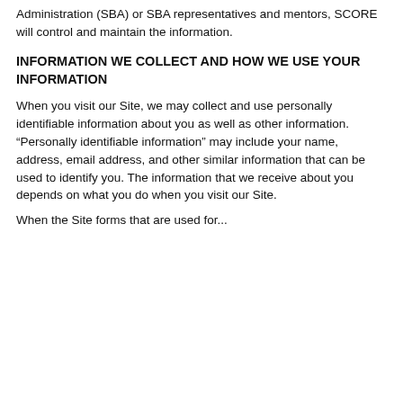Administration (SBA) or SBA representatives and mentors, SCORE will control and maintain the information.
INFORMATION WE COLLECT AND HOW WE USE YOUR INFORMATION
When you visit our Site, we may collect and use personally identifiable information about you as well as other information. “Personally identifiable information” may include your name, address, email address, and other similar information that can be used to identify you. The information that we receive about you depends on what you do when you visit our Site.
When the Site forms that are used for...